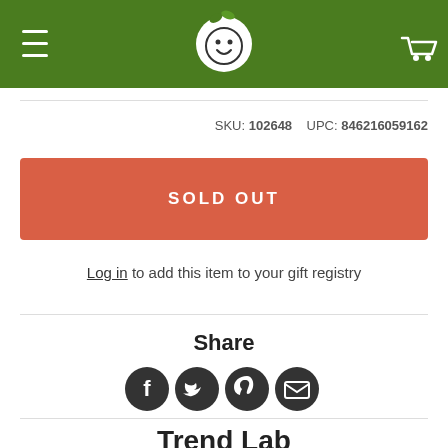[Figure (logo): Green circular navigation header with hamburger menu icon on left, baby face logo in center, and shopping cart icon on right, on dark green background]
SKU: 102648   UPC: 846216059162
SOLD OUT
Log in to add this item to your gift registry
Share
[Figure (infographic): Row of four social sharing icons: Facebook, Twitter, Pinterest, Email]
Trend Lab